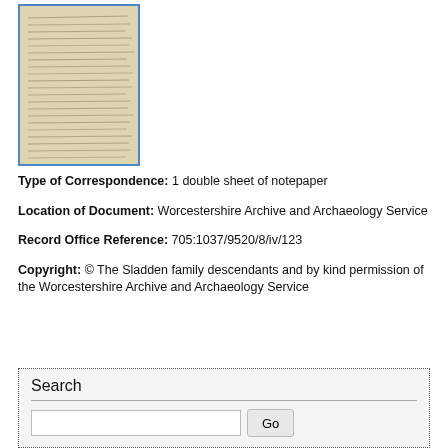[Figure (photo): Thumbnail image of a handwritten letter page, with blue border]
Type of Correspondence:  1 double sheet of notepaper
Location of Document:  Worcestershire Archive and Archaeology Service
Record Office Reference:  705:1037/9520/8/iv/123
Copyright:  © The Sladden family descendants and by kind permission of the Worcestershire Archive and Archaeology Service
Search